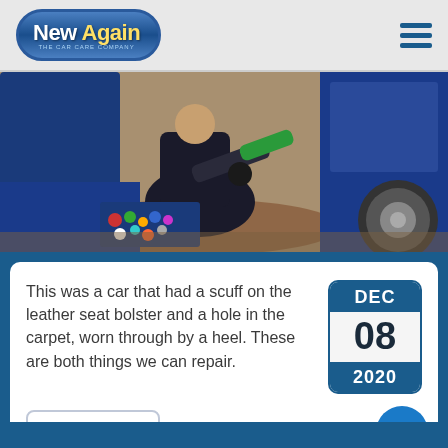[Figure (logo): New Again - The Car Care Company logo, oval shaped with blue gradient background, white and yellow text]
[Figure (photo): A mechanic kneeling beside a blue car door, holding a green tool, with a toolbox open on the ground containing various colored items]
This was a car that had a scuff on the leather seat bolster and a hole in the carpet, worn through by a heel. These are both things we can repair.
[Figure (infographic): Date badge showing DEC 08 2020 in blue and white rounded rectangle]
Read Article